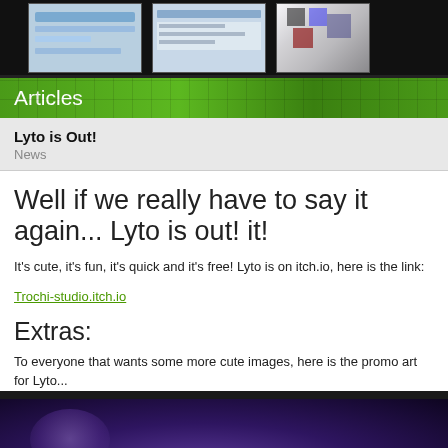[Figure (screenshot): Top navigation bar with three thumbnail screenshots/images of game content on a dark background]
Articles
Lyto is Out!
News
Well if we really have to say it again... Lyto is out! It's cute, it's fun, it's quick and it's free! Lyto is on itch.io, here is the link:
Trochi-studio.itch.io
Extras:
To everyone that wants some more cute images, here is the promo art for Lyto...
[Figure (illustration): Dark purple promotional artwork for Lyto game]